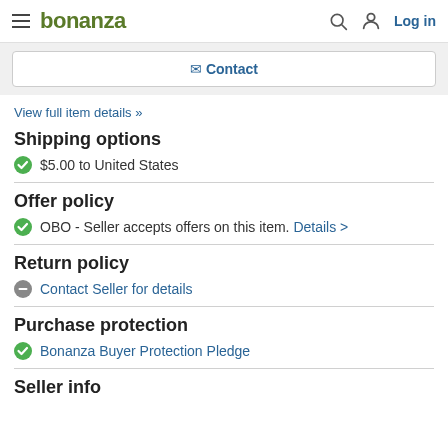bonanza | Log in
Contact
View full item details »
Shipping options
$5.00 to United States
Offer policy
OBO - Seller accepts offers on this item. Details >
Return policy
Contact Seller for details
Purchase protection
Bonanza Buyer Protection Pledge
Seller info